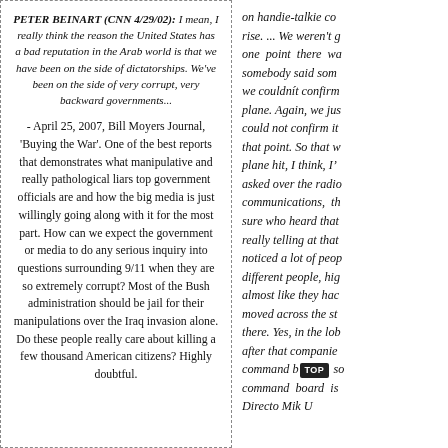PETER BEINART (CNN 4/29/02): I mean, I really think the reason the United States has a bad reputation in the Arab world is that we have been on the side of dictatorships. We've been on the side of very corrupt, very backward governments...
- April 25, 2007, Bill Moyers Journal, 'Buying the War'. One of the best reports that demonstrates what manipulative and really pathological liars top government officials are and how the big media is just willingly going along with it for the most part. How can we expect the government or media to do any serious inquiry into questions surrounding 9/11 when they are so extremely corrupt? Most of the Bush administration should be jail for their manipulations over the Iraq invasion alone. Do these people really care about killing a few thousand American citizens? Highly doubtful.
on handie-talkie co... rise. ... We weren't g... one point there wa... somebody said som... we couldn't confirm... plane. Again, we jus... could not confirm it... that point. So that w... plane hit, I think, I'... asked over the radio... communications, th... sure who heard that... really telling at that... noticed a lot of peop... different people, hig... almost like they hac... moved across the st... there. Yes, in the lob... after that companie... command b[TOP] so... command board is... Directo Mik U...